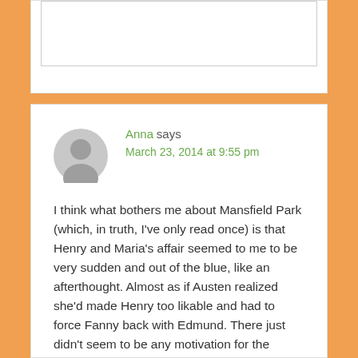[Figure (other): Partial top comment box, mostly empty white area visible at top of page]
Anna says
March 23, 2014 at 9:55 pm
I think what bothers me about Mansfield Park (which, in truth, I've only read once) is that Henry and Maria's affair seemed to me to be very sudden and out of the blue, like an afterthought. Almost as if Austen realized she'd made Henry too likable and had to force Fanny back with Edmund. There just didn't seem to be any motivation for the indiscretion, since Henry was making good headway with Fannie–he didn't need Maria's attention. And, I desperately wanted